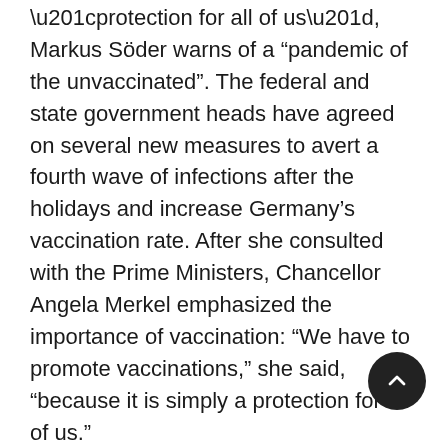“protection for all of us”, Markus Söder warns of a “pandemic of the unvaccinated”. The federal and state government heads have agreed on several new measures to avert a fourth wave of infections after the holidays and increase Germany’s vaccination rate. After she consulted with the Prime Ministers, Chancellor Angela Merkel emphasized the importance of vaccination: “We have to promote vaccinations,” she said, “because it is simply a protection for all of us.”
The central resolutions of the round are aimed at the group of the unvaccinated. Two new regulations will soon apply to them. On the one hand, they have to bear the costs for corona...